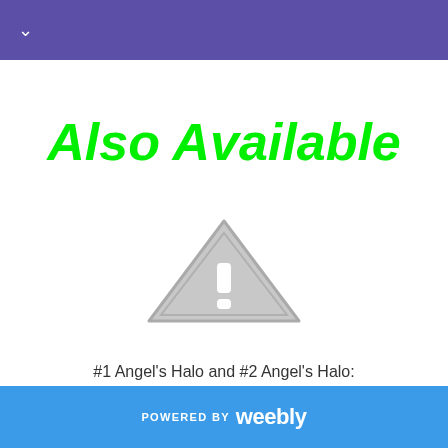✓
Also Available
[Figure (other): Gray broken image / warning placeholder icon — triangle with exclamation mark]
#1 Angel's Halo and #2 Angel's Halo:
POWERED BY weebly